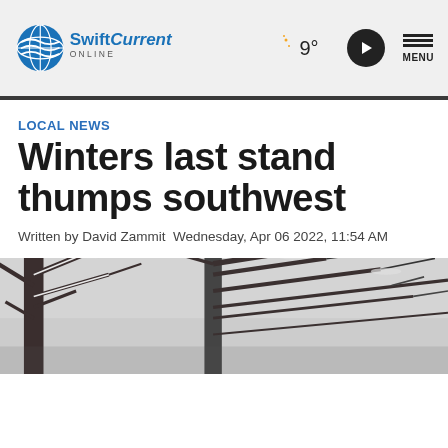SwiftCurrent Online — 9° weather — Play button — MENU
LOCAL NEWS
Winters last stand thumps southwest
Written by David Zammit  Wednesday, Apr 06 2022, 11:54 AM
[Figure (photo): Snow-covered bare tree branches in winter, black and white photograph]